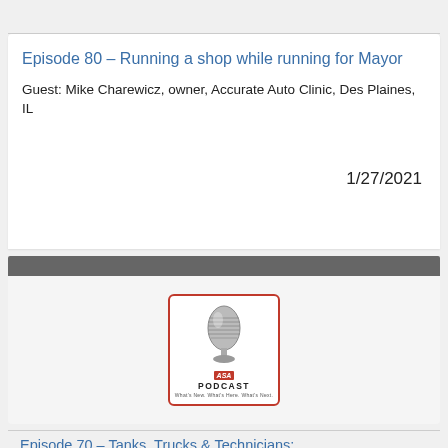Episode 80 – Running a shop while running for Mayor
Guest: Mike Charewicz, owner, Accurate Auto Clinic, Des Plaines, IL
1/27/2021
[Figure (logo): ASA Podcast logo with vintage microphone image and red border]
Episode 70 – Tanks, Trucks & Technicians: